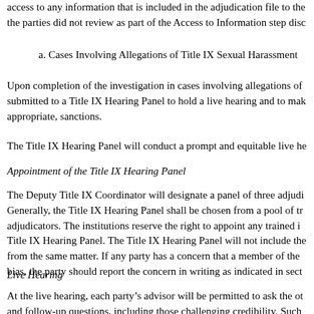access to any information that is included in the adjudication file to the parties did not review as part of the Access to Information step disc
a. Cases Involving Allegations of Title IX Sexual Harassment
Upon completion of the investigation in cases involving allegations of submitted to a Title IX Hearing Panel to hold a live hearing and to mak appropriate, sanctions.
The Title IX Hearing Panel will conduct a prompt and equitable live he
Appointment of the Title IX Hearing Panel
The Deputy Title IX Coordinator will designate a panel of three adjudi Generally, the Title IX Hearing Panel shall be chosen from a pool of tr adjudicators. The institutions reserve the right to appoint any trained i Title IX Hearing Panel. The Title IX Hearing Panel will not include the from the same matter. If any party has a concern that a member of the bias, the party should report the concern in writing as indicated in sect
Live Hearing
At the live hearing, each party’s advisor will be permitted to ask the ot and follow-up questions, including those challenging credibility. Such